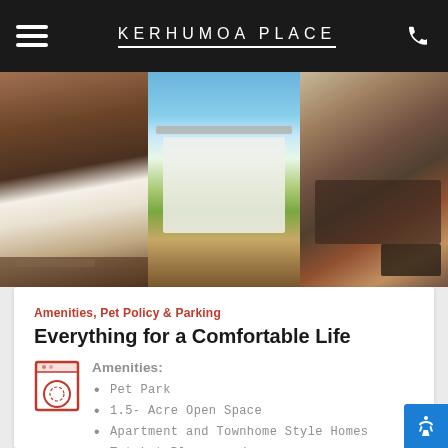KERHUMOA PLACE
[Figure (photo): Three-panel photo strip: kitchen interior on left, apartment exterior building in center, living room on right]
Amenities, Pet Policy & Parking
Everything for a Comfortable Life
Pet Park
1.5- Acre Open Space
Apartment and Townhome Style Homes
Tot Lot Playground
Smoke Free Community
BBQ Area
Bike Racks